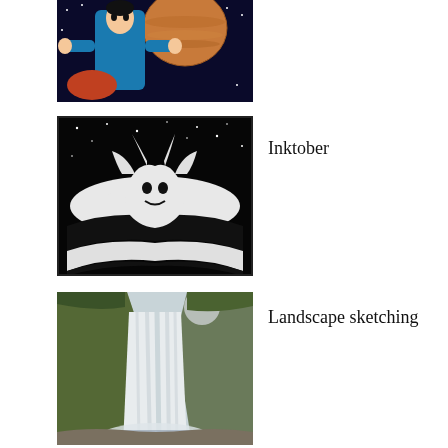[Figure (illustration): Anime/comic-style illustration showing a person in a blue jumpsuit with a large planet (Jupiter-like) in the background against a dark space scene]
[Figure (illustration): Black and white ink drawing (Inktober style) showing a creature or figure in a dramatic pose against a starry black sky with bold white and black contrasts]
Inktober
[Figure (illustration): Painting of a large waterfall with rocky cliffs covered in green vegetation, muted grey-blue tones for the falling water, landscape sketching style]
Landscape sketching